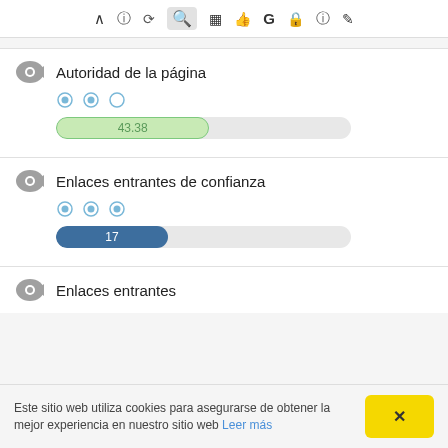Toolbar with icons: chevron, info, refresh, search (active), bar-chart, thumb-up, G, lock, help, edit
Autoridad de la página
[Figure (other): Three radio-button style dot indicators (blue)]
[Figure (bar-chart): Autoridad de la página]
Enlaces entrantes de confianza
[Figure (other): Three radio-button style dot indicators (blue, all filled)]
[Figure (bar-chart): Enlaces entrantes de confianza]
Enlaces entrantes
Este sitio web utiliza cookies para asegurarse de obtener la mejor experiencia en nuestro sitio web Leer más